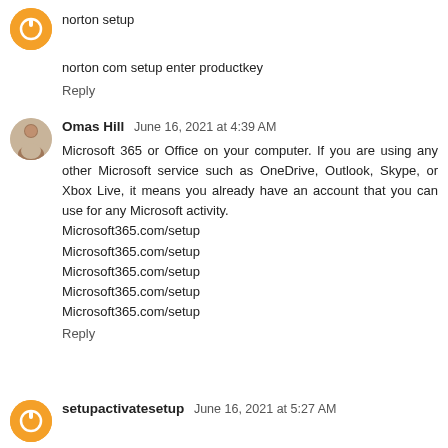[Figure (illustration): Orange circle avatar icon with white 'B' blogger logo symbol]
norton setup
norton com setup enter productkey
Reply
[Figure (photo): Small circular avatar photo of a man in a white t-shirt]
Omas Hill  June 16, 2021 at 4:39 AM
Microsoft 365 or Office on your computer. If you are using any other Microsoft service such as OneDrive, Outlook, Skype, or Xbox Live, it means you already have an account that you can use for any Microsoft activity.
Microsoft365.com/setup
Microsoft365.com/setup
Microsoft365.com/setup
Microsoft365.com/setup
Microsoft365.com/setup
Reply
[Figure (illustration): Orange circle avatar icon with white 'B' blogger logo symbol]
setupactivatesetup  June 16, 2021 at 5:27 AM